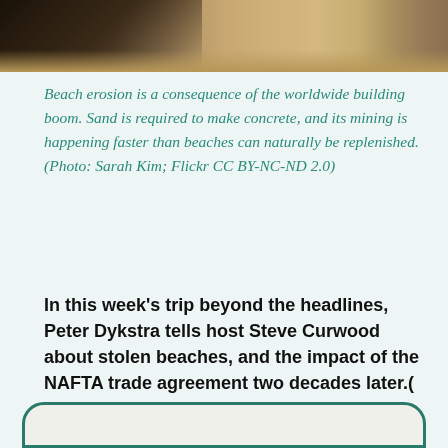[Figure (photo): Top portion of a photo showing a beach scene with dark rocky/sandy foreground and sandy/beige background, partially cropped.]
Beach erosion is a consequence of the worldwide building boom. Sand is required to make concrete, and its mining is happening faster than beaches can naturally be replenished. (Photo: Sarah Kim; Flickr CC BY-NC-ND 2.0)
In this week's trip beyond the headlines, Peter Dykstra tells host Steve Curwood about stolen beaches, and the impact of the NAFTA trade agreement two decades later.(